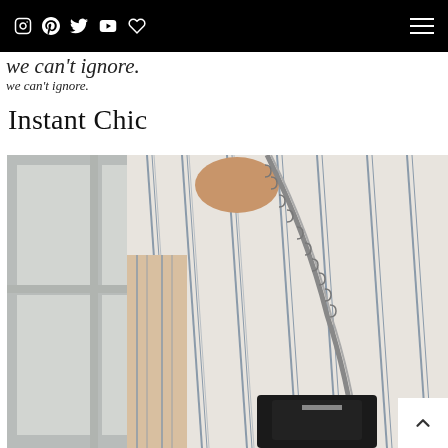Social media icons navigation bar
we can’t ignore.
Instant Chic
[Figure (photo): Fashion photo showing the back of a person wearing a white and blue striped cold-shoulder top with a chain-strap black bag visible over the shoulder. A window with white frames is visible in the background.]